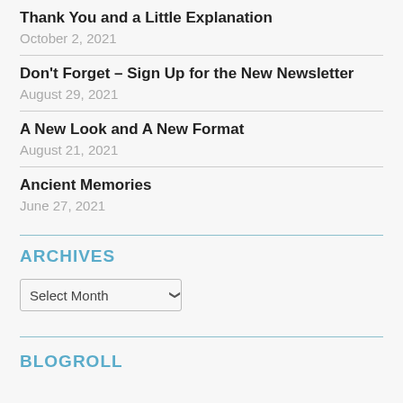Thank You and a Little Explanation
October 2, 2021
Don't Forget – Sign Up for the New Newsletter
August 29, 2021
A New Look and A New Format
August 21, 2021
Ancient Memories
June 27, 2021
ARCHIVES
Select Month
BLOGROLL